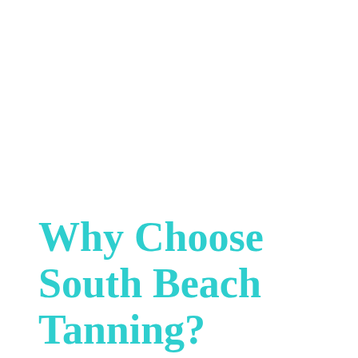Why Choose South Beach Tanning?
There are many sensible reasons one would choose to tan at a salon instead of the beach, including the inconveniences of